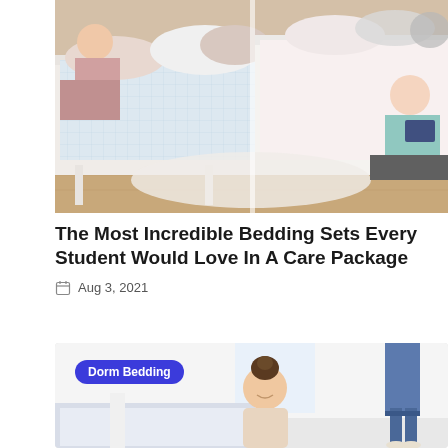[Figure (photo): Photo of a college dorm room with two beds, pillows, bedding sets, and two young women]
The Most Incredible Bedding Sets Every Student Would Love In A Care Package
Aug 3, 2021
[Figure (photo): Photo of a young woman smiling near dorm bedding with a 'Dorm Bedding' label overlay]